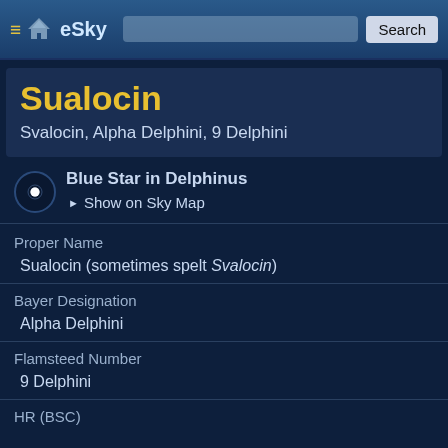eSky — Search
Sualocin
Svalocin, Alpha Delphini, 9 Delphini
Blue Star in Delphinus
Show on Sky Map
Proper Name
Sualocin (sometimes spelt Svalocin)
Bayer Designation
Alpha Delphini
Flamsteed Number
9 Delphini
HR (BSC)